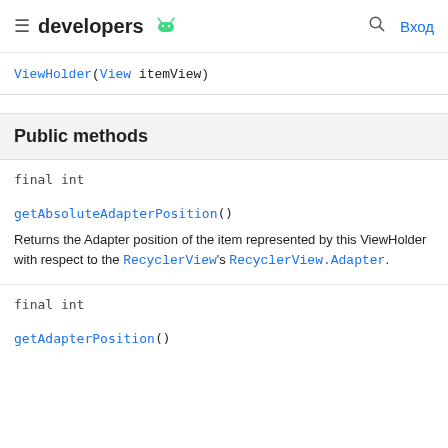developers [android logo] | [search] Вход
ViewHolder(View itemView)
Public methods
final int
getAbsoluteAdapterPosition()
Returns the Adapter position of the item represented by this ViewHolder with respect to the RecyclerView's RecyclerView.Adapter.
final int
getAdapterPosition()